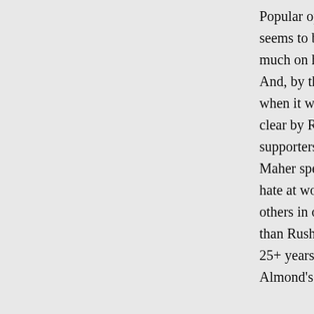Popular opinion seems to be still very much on his side. And, by the way, when it was made clear by Rush's supporters that Bill Maher spews more hate at women and others in one show than Rush has in his 25+ years, what did Almond's